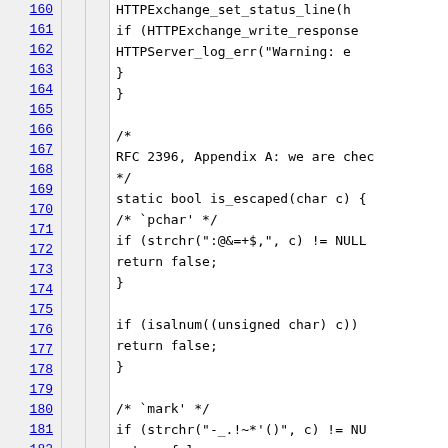Code listing lines 160-182 showing C source code with HTTPExchange and is_escaped function implementation